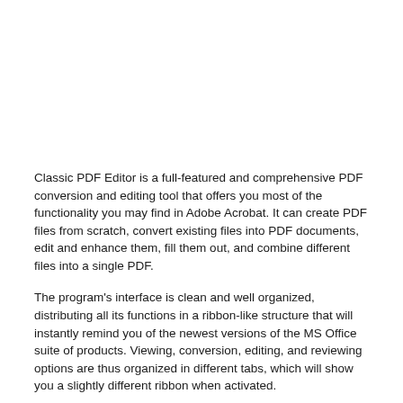Classic PDF Editor is a full-featured and comprehensive PDF conversion and editing tool that offers you most of the functionality you may find in Adobe Acrobat. It can create PDF files from scratch, convert existing files into PDF documents, edit and enhance them, fill them out, and combine different files into a single PDF.
The program's interface is clean and well organized, distributing all its functions in a ribbon-like structure that will instantly remind you of the newest versions of the MS Office suite of products. Viewing, conversion, editing, and reviewing options are thus organized in different tabs, which will show you a slightly different ribbon when activated.